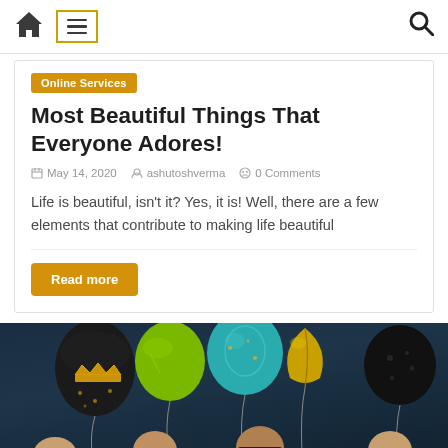[Navigation bar with home icon, menu icon, search icon]
Online Services
Most Beautiful Things That Everyone Adores!
May 14, 2020   ashutoshverma   0 Comments
Life is beautiful, isn't it? Yes, it is! Well, there are a few elements that contribute to making life beautiful
Read more
[Figure (photo): People celebrating with decorative balloons including gold crown balloon, teal/green balloons, and black balloons on dark background]